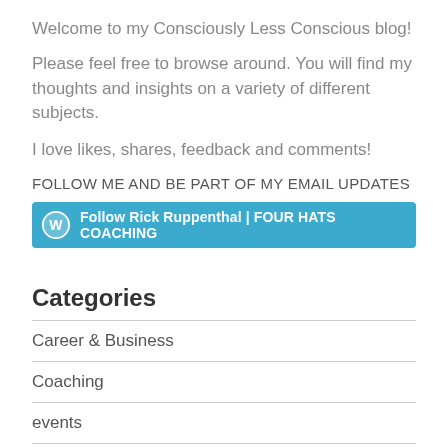Welcome to my Consciously Less Conscious blog!
Please feel free to browse around. You will find my thoughts and insights on a variety of different subjects.
I love likes, shares, feedback and comments!
FOLLOW ME AND BE PART OF MY EMAIL UPDATES
[Figure (other): WordPress follow button: Follow Rick Ruppenthal | FOUR HATS COACHING]
Categories
Career & Business
Coaching
events
Health & Wellbeing
Leadership